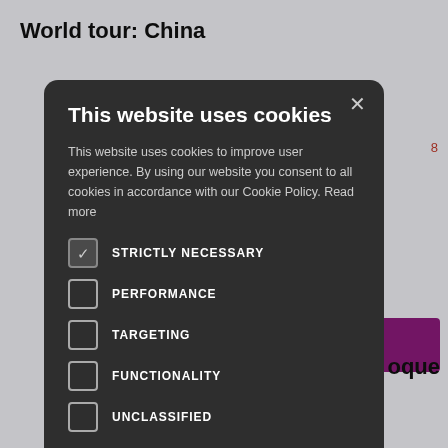World tour: China
mber 2020 the first two es of music of the rica. This and...
[Figure (screenshot): Cookie consent modal dialog on a dark background. Contains title 'This website uses cookies', body text, checkboxes for STRICTLY NECESSARY (checked), PERFORMANCE, TARGETING, FUNCTIONALITY, UNCLASSIFIED, and buttons ACCEPT ALL and DECLINE ALL, plus SHOW DETAILS link.]
oque
Secondary education KS 3 KS 4 KS 5